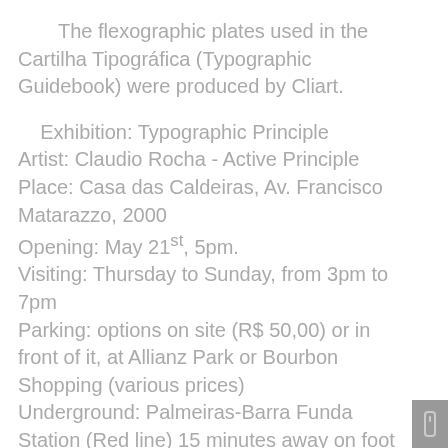The flexographic plates used in the Cartilha Tipográfica (Typographic Guidebook) were produced by Cliart.
Exhibition: Typographic Principle
Artist: Claudio Rocha - Active Principle
Place: Casa das Caldeiras, Av. Francisco Matarazzo, 2000
Opening: May 21st, 5pm.
Visiting: Thursday to Sunday, from 3pm to 7pm
Parking: options on site (R$ 50,00) or in front of it, at Allianz Park or Bourbon Shopping (various prices)
Underground: Palmeiras-Barra Funda Station (Red line) 15 minutes away on foot